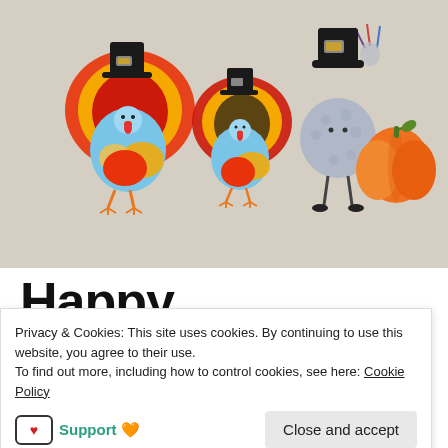[Figure (photo): Thanksgiving craft decorations on a beige wall: two colorful turkey cutouts with pilgrim hats, a fuzzy round pilgrim figure with a black hat and stick legs, orange pumpkin cutouts, and a small paper turkey in the upper right corner]
Happy Thanksgiving
Privacy & Cookies: This site uses cookies. By continuing to use this website, you agree to their use.
To find out more, including how to control cookies, see here: Cookie Policy
Support 🧡